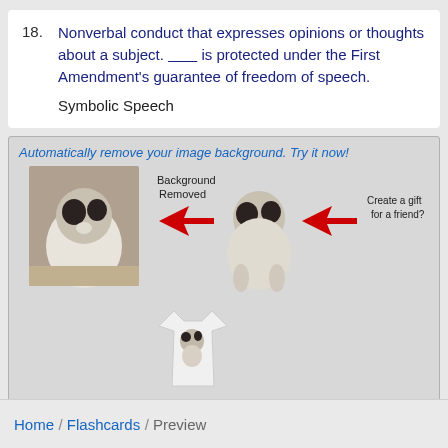18. Nonverbal conduct that expresses opinions or thoughts about a subject. _______ is protected under the First Amendment's guarantee of freedom of speech.

Symbolic Speech
[Figure (advertisement): Advertisement for remove-image-background.com showing a dog photo with background removed, an arrow, the dog cutout, another arrow, a t-shirt with the dog image, and the text 'Automatically remove your image background. Try it now!' with URL https://remove-image-background.com]
Home / Flashcards / Preview